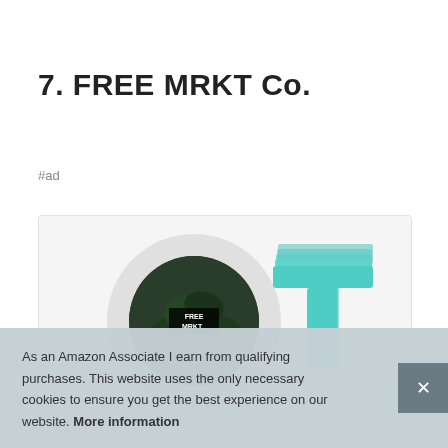7. FREE MRKT Co.
#ad
[Figure (photo): Product image showing a circular disc/ring light with a dark green leaf background and FREE MRKT logo text, alongside teal/turquoise T-shaped plant markers]
As an Amazon Associate I earn from qualifying purchases. This website uses the only necessary cookies to ensure you get the best experience on our website. More information